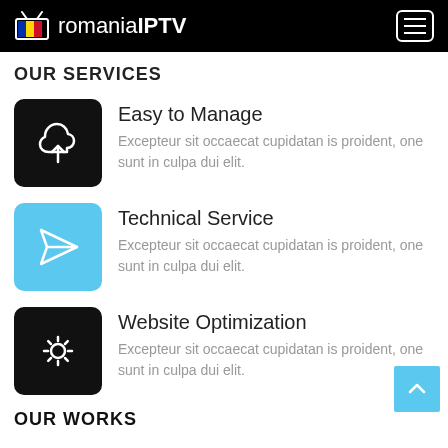romaniaIPTV
OUR SERVICES
Easy to Manage — Excepteur sit occaecat cupidatan is proident, one sunt in culpa dui elit.
Technical Service — Excepteur sit occaecat cupidatan is proident, one sunt in culpa dui elit.
Website Optimization — Excepteur sit occaecat cupidatan is proident, one sunt in culpa dui elit.
OUR WORKS